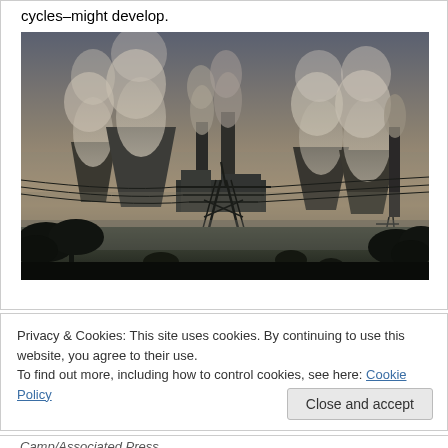cycles–might develop.
[Figure (photo): Industrial power plant with cooling towers emitting steam, smokestacks, and high-voltage transmission towers in the foreground against a hazy sky at dusk.]
Privacy & Cookies: This site uses cookies. By continuing to use this website, you agree to their use.
To find out more, including how to control cookies, see here: Cookie Policy
Camp/Associated Press